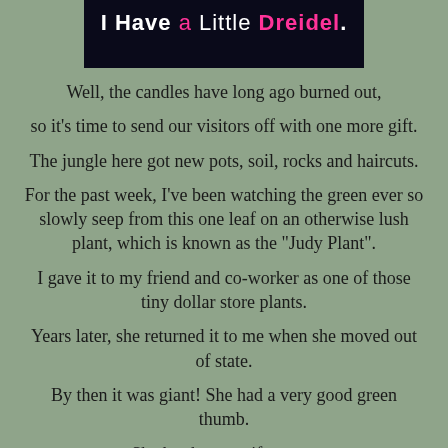[Figure (screenshot): Dark navy banner image with bold white text reading 'I Have' followed by pink text 'a Little Dreidel' with a white period, styled in bold sans-serif font on a dark background.]
Well, the candles have long ago burned out, so it's time to send our visitors off with one more gift. The jungle here got new pots, soil, rocks and haircuts. For the past week, I've been watching the green ever so slowly seep from this one leaf on an otherwise lush plant, which is known as the "Judy Plant". I gave it to my friend and co-worker as one of those tiny dollar store plants. Years later, she returned it to me when she moved out of state. By then it was giant! She had a very good green thumb. She has been a gift to me.